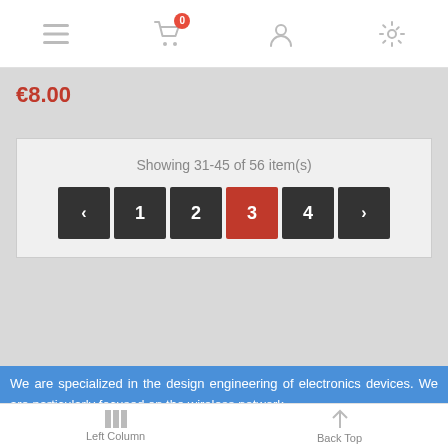[Figure (screenshot): Top navigation bar with hamburger menu, shopping cart with badge showing 0, user profile icon, and settings gear icon]
€8.00
Showing 31-45 of 56 item(s)
[Figure (other): Pagination controls with buttons: < 1 2 3(active/red) 4 >]
We are specialized in the design engineering of electronics devices. We are particularly focused on the wireless network
Left Column   Back Top